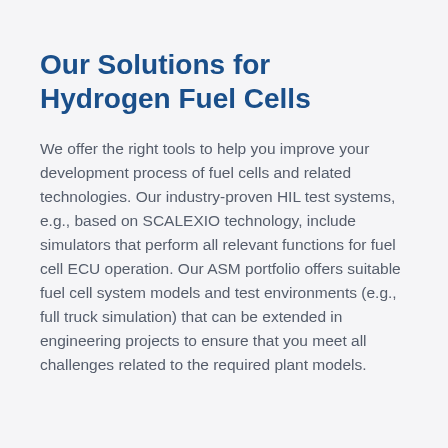Our Solutions for Hydrogen Fuel Cells
We offer the right tools to help you improve your development process of fuel cells and related technologies. Our industry-proven HIL test systems, e.g., based on SCALEXIO technology, include simulators that perform all relevant functions for fuel cell ECU operation. Our ASM portfolio offers suitable fuel cell system models and test environments (e.g., full truck simulation) that can be extended in engineering projects to ensure that you meet all challenges related to the required plant models.